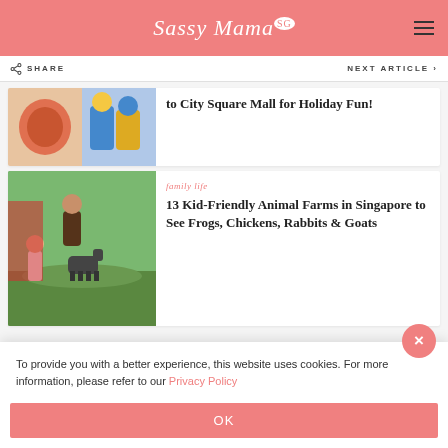Sassy Mama
SHARE   NEXT ARTICLE
[Figure (photo): Two photos side by side: a lantern-like round pumpkin and two PAW Patrol character costumed figures]
to City Square Mall for Holiday Fun!
family life
[Figure (photo): A child reaching out to touch a small dark goat at an outdoor animal farm, with an adult nearby on green grass]
13 Kid-Friendly Animal Farms in Singapore to See Frogs, Chickens, Rabbits & Goats
To provide you with a better experience, this website uses cookies. For more information, please refer to our Privacy Policy
OK